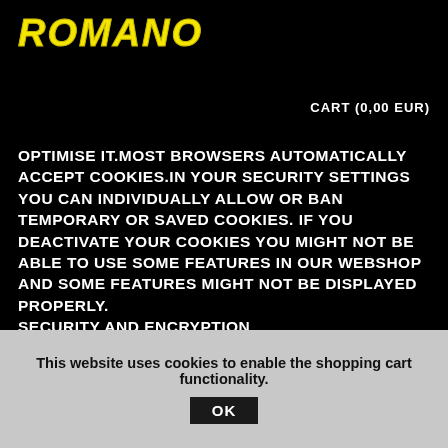[Figure (logo): ROMANO logo in yellow bold italic text on black background]
CART (0,00 EUR)
OPTIMISE IT.MOST BROWSERS AUTOMATICALLY ACCEPT COOKIES.IN YOUR SECURITY SETTINGS YOU CAN INDIVIDUALLY ALLOW OR BAN TEMPORARY OR SAVED COOKIES. IF YOU DEACTIVATE YOUR COOKIES YOU MIGHT NOT BE ABLE TO USE SOME FEATURES IN OUR WEBSHOP AND SOME FEATURES MIGHT NOT BE DISPLAYED PROPERLY.
SECURITY AND ENCRYPTION
THE SECURITY SERVER SOFTWARE SSL (SECURE SOCKET LAYER) THAT IS USED BY US ENCRYPTS YOUR ENTIRE PERSONAL DATA LIKE NAME AND ADDRESS, CREDIT CARD
This website uses cookies to enable the shopping cart functionality.
OK